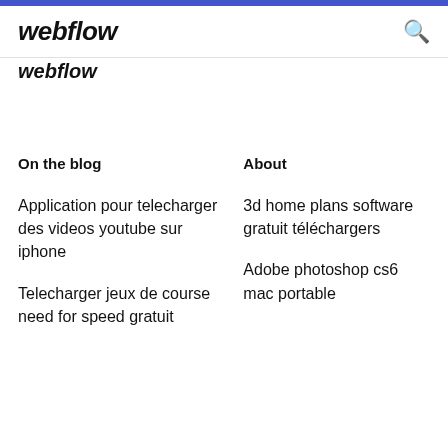webflow
webflow
On the blog
About
Application pour telecharger des videos youtube sur iphone
3d home plans software gratuit téléchargers
Telecharger jeux de course need for speed gratuit
Adobe photoshop cs6 mac portable